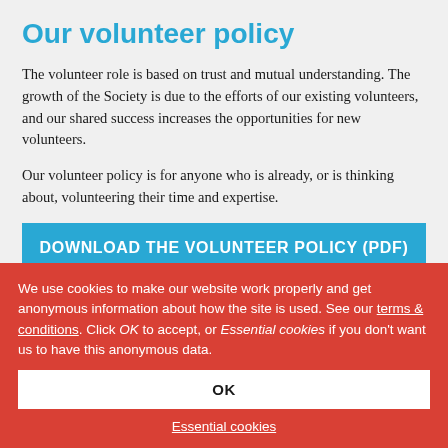Our volunteer policy
The volunteer role is based on trust and mutual understanding. The growth of the Society is due to the efforts of our existing volunteers, and our shared success increases the opportunities for new volunteers.
Our volunteer policy is for anyone who is already, or is thinking about, volunteering their time and expertise.
DOWNLOAD THE VOLUNTEER POLICY (PDF)
We use cookies to make our website work properly and get anonymous information about how the site is used. See our terms & conditions. Click OK to accept, or Essential cookies if you don't want us to have this anonymous data.
OK
Essential cookies